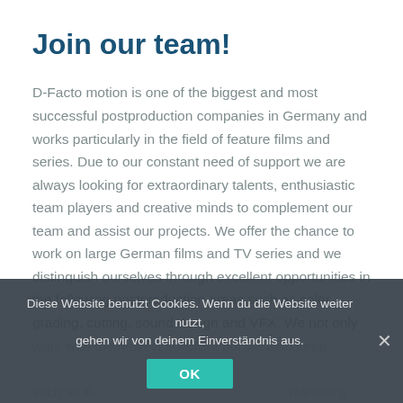Join our team!
D-Facto motion is one of the biggest and most successful postproduction companies in Germany and works particularly in the field of feature films and series. Due to our constant need of support we are always looking for extraordinary talents, enthusiastic team players and creative minds to complement our team and assist our projects. We offer the chance to work on large German films and TV series and we distinguish ourselves through excellent opportunities in the following postproduction areas such as color grading, cutting, sound design and VFX. We not only work with the newest software but we also keep such as B... Hamburg and a charming team, wh...eps a cool head even in difficult situations completes our company profile. Joy
Diese Website benutzt Cookies. Wenn du die Website weiter nutzt, gehen wir von deinem Einverständnis aus.